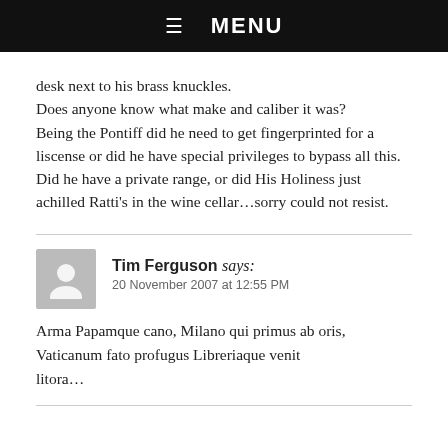☰ MENU
desk next to his brass knuckles.
Does anyone know what make and caliber it was?
Being the Pontiff did he need to get fingerprinted for a liscense or did he have special privileges to bypass all this.
Did he have a private range, or did His Holiness just achilled Ratti's in the wine cellar…sorry could not resist.
Tim Ferguson says:
20 November 2007 at 12:55 PM
Arma Papamque cano, Milano qui primus ab oris, Vaticanum fato profugus Libreriaque venit litora…